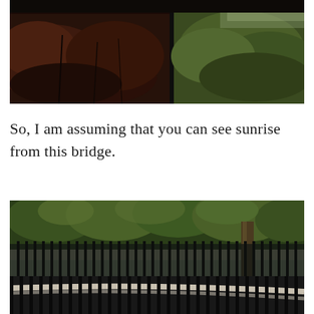[Figure (photo): Outdoor photograph showing dark reddish-brown shrubs/bushes on the left half and green bushes/shrubbery on the right half, separated by a dark vertical element, likely a fence or pole.]
So, I am assuming that you can see sunrise from this bridge.
[Figure (photo): Outdoor photograph of a bridge area with large green leafy trees in the upper portion, black metal vertical fence railings in the middle, and a curved black metal railing in the foreground lower portion of the frame.]